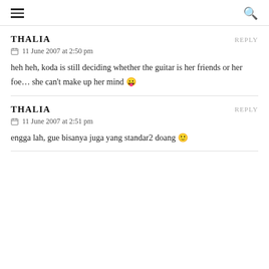☰ 🔍
THALIA   REPLY
📅 11 June 2007 at 2:50 pm
heh heh, koda is still deciding whether the guitar is her friends or her foe… she can't make up her mind 😛
THALIA   REPLY
📅 11 June 2007 at 2:51 pm
engga lah, gue bisanya juga yang standar2 doang 🙂